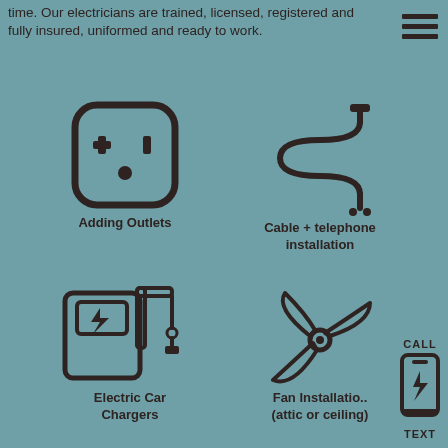time. Our electricians are trained, licensed, registered and fully insured, uniformed and ready to work.
[Figure (illustration): Hamburger menu icon (three horizontal bars)]
[Figure (illustration): Electrical outlet icon]
Adding Outlets
[Figure (illustration): Cable/wire coil icon]
Cable + telephone installation
[Figure (illustration): Electric car charger station icon]
Electric Car Chargers
[Figure (illustration): Ceiling/attic fan icon]
Fan Installatio.. (attic or ceiling)
[Figure (illustration): Smartphone icon with lightning bolt]
CALL
TEXT